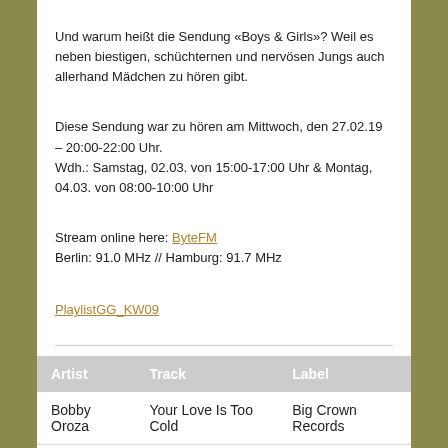Und warum heißt die Sendung «Boys & Girls»? Weil es neben biestigen, schüchternen und nervösen Jungs auch allerhand Mädchen zu hören gibt.
Diese Sendung war zu hören am Mittwoch, den 27.02.19 – 20:00-22:00 Uhr.
Wdh.: Samstag, 02.03. von 15:00-17:00 Uhr & Montag, 04.03. von 08:00-10:00 Uhr
Stream online here: ByteFM
Berlin: 91.0 MHz // Hamburg: 91.7 MHz
PlaylistGG_KW09
| Artist | Track | Label |
| --- | --- | --- |
| Bobby Oroza | Your Love Is Too Cold | Big Crown Records |